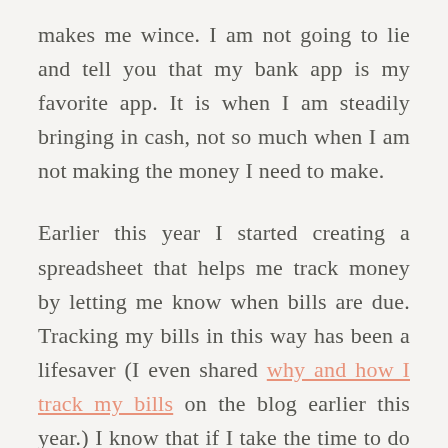makes me wince. I am not going to lie and tell you that my bank app is my favorite app. It is when I am steadily bringing in cash, not so much when I am not making the money I need to make.
Earlier this year I started creating a spreadsheet that helps me track money by letting me know when bills are due. Tracking my bills in this way has been a lifesaver (I even shared why and how I track my bills on the blog earlier this year.) I know that if I take the time to do more tracking and checking with my money, I'll either love